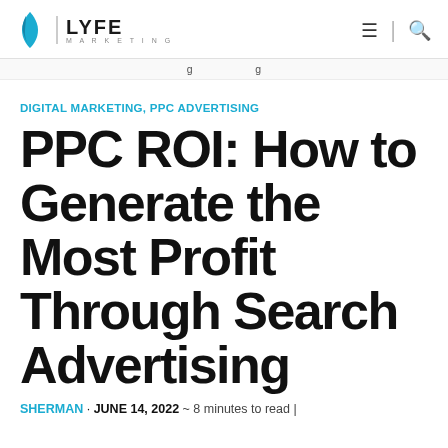LYFE MARKETING
DIGITAL MARKETING, PPC ADVERTISING
PPC ROI: How to Generate the Most Profit Through Search Advertising
SHERMAN · JUNE 14, 2022 ~ 8 minutes to read |